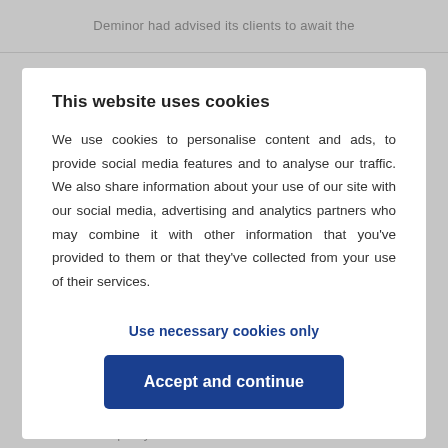Deminor had advised its clients to await the
This website uses cookies
We use cookies to personalise content and ads, to provide social media features and to analyse our traffic. We also share information about your use of our site with our social media, advertising and analytics partners who may combine it with other information that you’ve provided to them or that they’ve collected from your use of their services.
Use necessary cookies only
Accept and continue
declared at Solvay’s annual general meeting, Deminor believes that the company should do more to improve its disclosure policy and to come clean